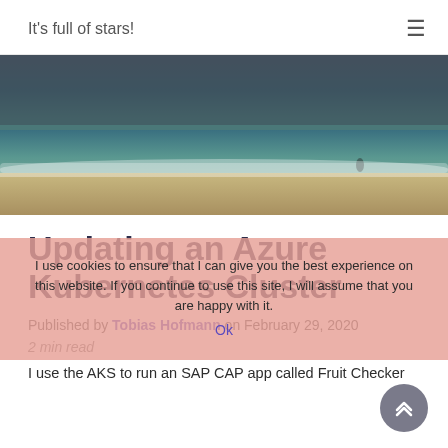It's full of stars!
[Figure (photo): Ocean/beach scene with dark cloudy sky, ocean waves, and sandy shore viewed from ground level]
Updating an Azure Kubernetes Cluster
Published by Tobias Hofmann on February 29, 2020
2 min read
I use the AKS to run an SAP CAP app called Fruit Checker
I use cookies to ensure that I can give you the best experience on this website. If you continue to use this site, I will assume that you are happy with it.
Ok